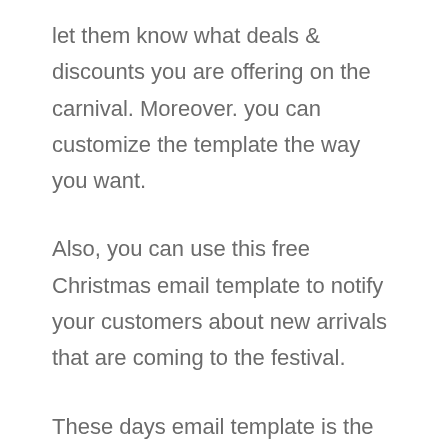let them know what deals & discounts you are offering on the carnival. Moreover. you can customize the template the way you want.
Also, you can use this free Christmas email template to notify your customers about new arrivals that are coming to the festival.
These days email template is the best medium to grasp customer's attention.